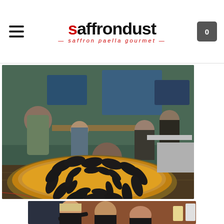saffrondust — saffron paella gourmet
[Figure (photo): Large group of people at an outdoor gathering/party celebrating around a huge paella pan filled with mussels and rice on a wooden deck. The paella pan dominates the foreground with mussels arranged in a circle. People are smiling and raising drinks in the background.]
[Figure (photo): Three young people (two men and a woman) smiling and posing for a photo indoors, one pointing at a paella dish. Warm brown wall in background.]